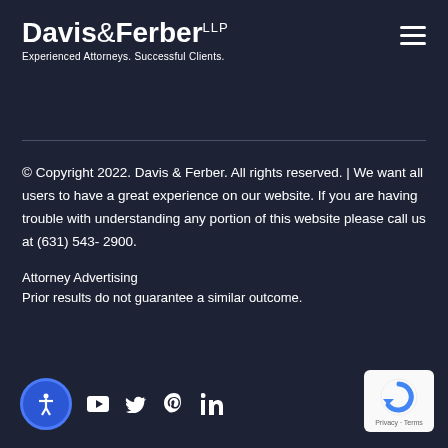[Figure (logo): Davis & Ferber LLP law firm logo with tagline 'Experienced Attorneys. Successful Clients.']
[Figure (illustration): Hamburger menu icon (three horizontal lines)]
© Copyright 2022. Davis & Ferber. All rights reserved. | We want all users to have a great experience on our website. If you are having trouble with understanding any portion of this website please call us at (631) 543-2900.
Attorney Advertising
Prior results do not guarantee a similar outcome.
[Figure (infographic): Social media icons: accessibility icon (blue circle with person), YouTube, Twitter, Pinterest, LinkedIn]
[Figure (logo): Google reCAPTCHA badge with 'Privacy - Terms' text]